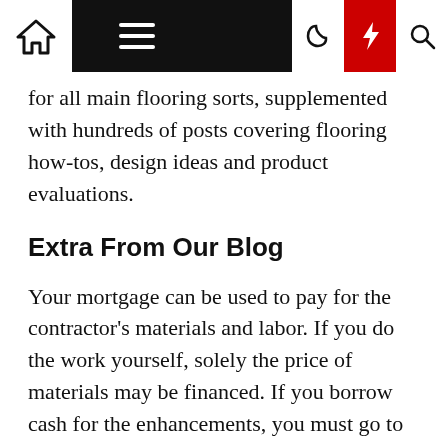Navigation bar with home, menu, moon, bolt, and search icons
for all main flooring sorts, supplemented with hundreds of posts covering flooring how-tos, design ideas and product evaluations.
Extra From Our Blog
Your mortgage can be used to pay for the contractor's materials and labor. If you do the work yourself, solely the price of materials may be financed. If you borrow cash for the enhancements, you must go to your financial institution or different lender and apply for a loan. After checking to see in case your credit score is passable, the lender defines the terms of the loan and you have to comply with them earlier than signing the note. Do not proceed with home improvement plans till you understand all the prices concerned. If you're helpful with instruments and have the expertise, it can save you